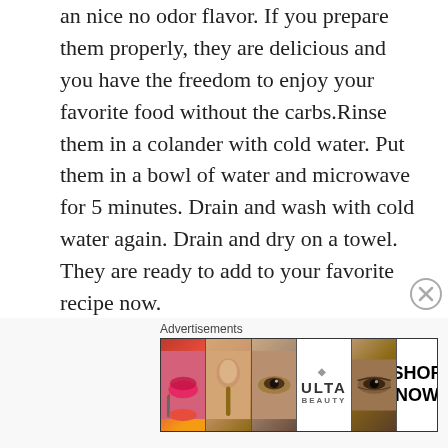an nice no odor flavor. If you prepare them properly, they are delicious and you have the freedom to enjoy your favorite food without the carbs. Rinse them in a colander with cold water. Put them in a bowl of water and microwave for 5 minutes. Drain and wash with cold water again. Drain and dry on a towel. They are ready to add to your favorite recipe now.
All recipes reflect approximate nutrition values for your convenience. Data is gathered by MyFitnessPal. Nutritional values can vary for each recipe based on variables such as measurement accuracy, different brands of ingredients, and so on. We make every effort to be as accurate as possible, but if exact
[Figure (other): Advertisement banner for ULTA beauty products showing close-up images of lips with red lipstick and makeup brush, eye with makeup, ULTA beauty logo, smoky eye makeup, and a SHOP NOW call-to-action button.]